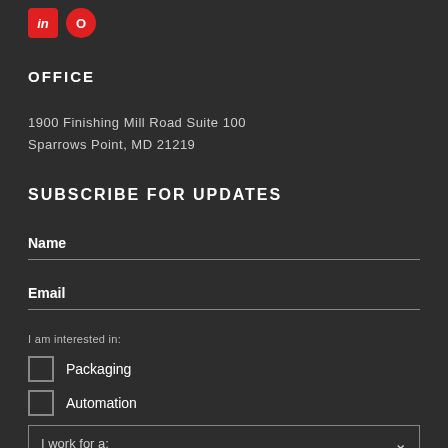[Figure (logo): Social media icons: LinkedIn (red square with 'in') and another red circle icon]
OFFICE
1900 Finishing Mill Road Suite 100
Sparrows Point, MD 21219
SUBSCRIBE FOR UPDATES
Name
Email
I am interested in:
Packaging
Automation
I work for a: